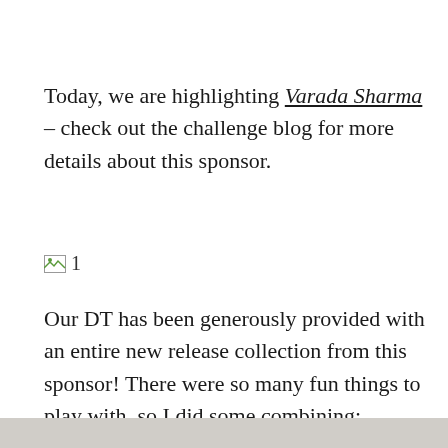Today, we are highlighting Varada Sharma – check out the challenge blog for more details about this sponsor.
[Figure (photo): Broken/placeholder image icon with the number 1 next to it]
Our DT has been generously provided with an entire new release collection from this sponsor! There were so many fun things to play with, so I did some combining:
[Figure (photo): Partially visible image at the bottom of the page]